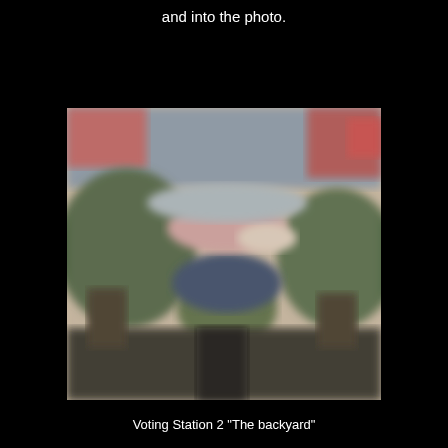and into the photo.
[Figure (photo): A blurry outdoor photograph showing a group of people gathered in what appears to be a garden or outdoor venue, with greenery and structures visible. The image is heavily blurred.]
Voting Station 2 "The backyard"